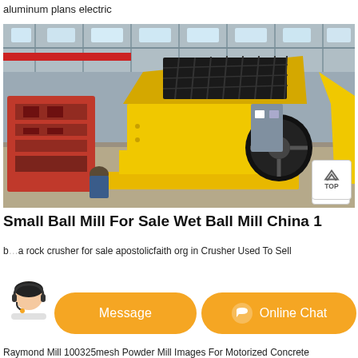aluminum plans electric
[Figure (photo): A large yellow impact crusher/hammer mill machine in an industrial factory/warehouse setting. A worker is visible in the background. There are other pieces of red and gray machinery around. The facility has steel roof trusses and natural lighting.]
Small Ball Mill For Sale Wet Ball Mill China 1
b... rock crusher for sale apostolicfaith org in Crusher Used To Sell
Raymond Mill 100325mesh Powder Mill Images For Motorized Concrete